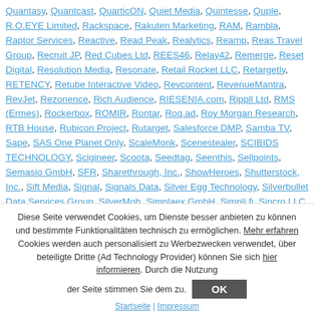Quantasy, Quantcast, QuarticON, Quiet Media, Quintesse, Quple, R.O.EYE Limited, Rackspace, Rakuten Marketing, RAM, Rambla, Raptor Services, Reactive, Read Peak, Realytics, Reamp, Reas Travel Group, Recruit JP, Red Cubes Ltd, REES46, Relay42, Remerge, Reset Digital, Resolution Media, Resonate, Retail Rocket LLC, Retargetly, RETENCY, Retube Interactive Video, Revcontent, RevenueMantra, RevJet, Rezonence, Rich Audience, RIESENIA.com, Rippll Ltd, RMS (Ermes), Rockerbox, ROMIR, Rontar, Roq.ad, Roy Morgan Research, RTB House, Rubicon Project, Rutarget, Salesforce DMP, Samba TV, Sape, SAS One Planet Only, ScaleMonk, Scenestealer, SCIBIDS TECHNOLOGY, Scigineer, Scoota, Seedtag, Seenthis, Sellpoints, Semasio GmbH, SFR, Sharethrough, Inc., ShowHeroes, Shutterstock, Inc., Sift Media, Signal, Signals Data, Silver Egg Technology, Silverbullet Data Services Group, SilverMob, Simplaex GmbH, Simpli.fi, Sincro LLC, Singular Labs Inc., Sirdata, Sixide, Sizmek, Sketchfab, Inc., Skoiy, Smaato, Smadex, Smart, Smart.bid ltd, smartclip Europe GmbH, Smartly.io Solutions Oy, Smartology, SMARTSTREAM, SmartyAds, Smile Wanted, SMN Corporation, Snap Inc., Snapupp Technologies SL, Snitcher.com, Softcrylic, Softcube, Sojern, Solocal, Solution Coupons, Somo Audience, Somplo, Sonobi, Inc, Soundcast, SourceKnowledge, Sovrn, SPACE
Diese Seite verwendet Cookies, um Dienste besser anbieten zu können und bestimmte Funktionalitäten technisch zu ermöglichen. Mehr erfahren Cookies werden auch personalisiert zu Werbezwecken verwendet, über beteiligte Dritte (Ad Technology Provider) können Sie sich hier informieren. Durch die Nutzung der Seite stimmen Sie dem zu.
Startseite | Impressum